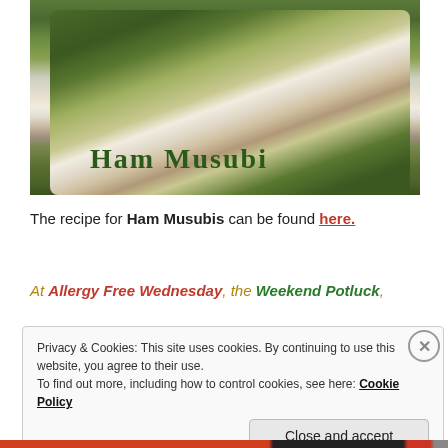[Figure (photo): Photo of Ham Musubi - rice and ham wrapped in nori seaweed on a white plate, with text 'Ham Musubi' overlaid in dark green serif font]
The recipe for Ham Musubis can be found here.
At Allergy Free Wednesday, the Weekend Potluck,
Privacy & Cookies: This site uses cookies. By continuing to use this website, you agree to their use.
To find out more, including how to control cookies, see here: Cookie Policy
Close and accept